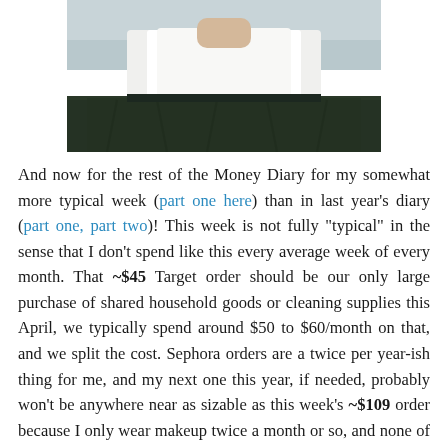[Figure (photo): Photo of a person wearing a white t-shirt and dark green/olive full skirt, cropped to show torso only, taken outdoors]
And now for the rest of the Money Diary for my somewhat more typical week (part one here) than in last year's diary (part one, part two)! This week is not fully "typical" in the sense that I don't spend like this every average week of every month. That ~$45 Target order should be our only large purchase of shared household goods or cleaning supplies this April, we typically spend around $50 to $60/month on that, and we split the cost. Sephora orders are a twice per year-ish thing for me, and my next one this year, if needed, probably won't be anywhere near as sizable as this week's ~$109 order because I only wear makeup twice a month or so, and none of my other products are running out. Also, I don't get any skincare products from